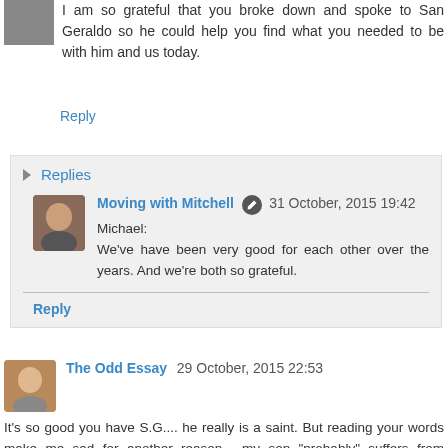I am so grateful that you broke down and spoke to San Geraldo so he could help you find what you needed to be with him and us today.
Reply
Replies
Moving with Mitchell  31 October, 2015 19:42
Michael:
We've have been very good for each other over the years. And we're both so grateful.
Reply
The Odd Essay  29 October, 2015 22:53
It's so good you have S.G.... he really is a saint. But reading your words make me sad for another reason... my son "probably" suffers from depression. He has a lot of other problems, but to me, the depression is the scariest. I